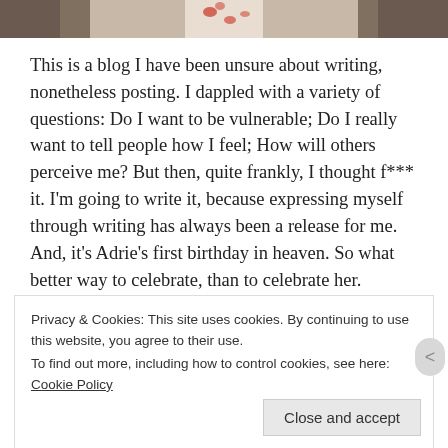[Figure (photo): Partial photo strip at top showing person in floral dress against a rocky background]
This is a blog I have been unsure about writing, nonetheless posting. I dappled with a variety of questions: Do I want to be vulnerable; Do I really want to tell people how I feel; How will others perceive me? But then, quite frankly, I thought f*** it. I'm going to write it, because expressing myself through writing has always been a release for me. And, it's Adrie's first birthday in heaven. So what better way to celebrate, than to celebrate her.
Privacy & Cookies: This site uses cookies. By continuing to use this website, you agree to their use.
To find out more, including how to control cookies, see here: Cookie Policy